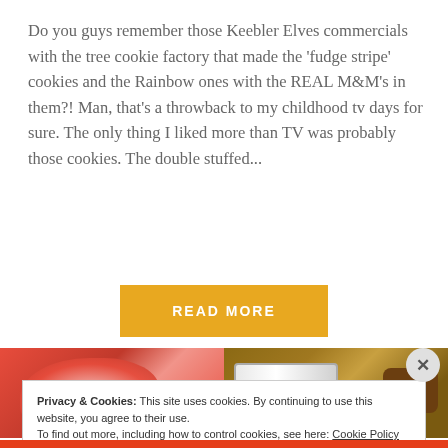Do you guys remember those Keebler Elves commercials with the tree cookie factory that made the 'fudge stripe' cookies and the Rainbow ones with the REAL M&M's in them?! Man, that's a throwback to my childhood tv days for sure. The only thing I liked more than TV was probably those cookies. The double stuffed...
READ MORE
[Figure (photo): Photo strip showing pink/red fabric on left side and cookies on a plate with wooden background on right side]
Privacy & Cookies: This site uses cookies. By continuing to use this website, you agree to their use.
To find out more, including how to control cookies, see here: Cookie Policy
Close and accept